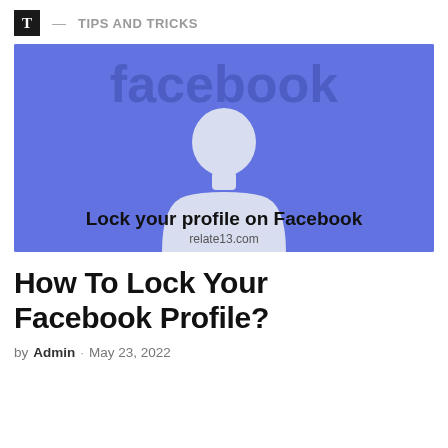T — TIPS AND TRICKS
[Figure (illustration): Blue background image with Facebook logo text at top in dark gray, a white 3D person silhouette/avatar figure in the center, bold black text reading 'Lock your profile on Facebook' at the bottom, and 'relate13.com' watermark below it.]
How To Lock Your Facebook Profile?
by Admin · May 23, 2022